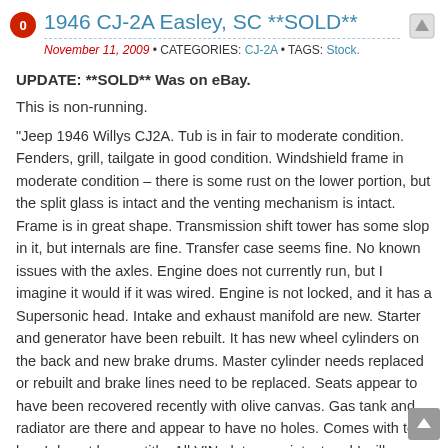1946 CJ-2A Easley, SC **SOLD**
November 11, 2009 • CATEGORIES: CJ-2A • TAGS: Stock.
UPDATE:  **SOLD** Was on eBay.
This is non-running.
"Jeep 1946 Willys CJ2A. Tub is in fair to moderate condition. Fenders, grill, tailgate in good condition. Windshield frame in moderate condition – there is some rust on the lower portion, but the split glass is intact and the venting mechanism is intact. Frame is in great shape. Transmission shift tower has some slop in it, but internals are fine. Transfer case seems fine. No known issues with the axles. Engine does not currently run, but I imagine it would if it was wired. Engine is not locked, and it has a Supersonic head. Intake and exhaust manifold are new. Starter and generator have been rebuilt. It has new wheel cylinders on the back and new brake drums. Master cylinder needs replaced or rebuilt and brake lines need to be replaced. Seats appear to have been recovered recently with olive canvas. Gas tank and radiator are there and appear to have no holes. Comes with tow bar. I do not have a title. All VIN plates are intact and I will